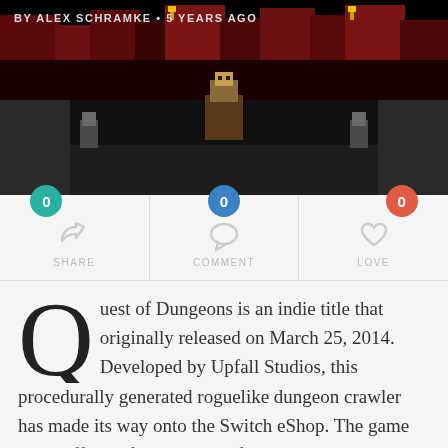[Figure (screenshot): Screenshot of a pixel-art dungeon crawler game (Quest of Dungeons) showing dark gothic castle environment with pixel characters]
BY ALEX SCHRAMKE • 5 YEARS AGO
[Figure (infographic): Social interaction bar with three items: SHARE (0, teal badge), COMMENT (0, blue badge), LOVE (0, red badge)]
Quest of Dungeons is an indie title that originally released on March 25, 2014. Developed by Upfall Studios, this procedurally generated roguelike dungeon crawler has made its way onto the Switch eShop. The game starts off by informing you of an evil dark lord who has stolen all light from the world, hiding it in an enchanted lantern. We then see the four heroes of the game as they slack off